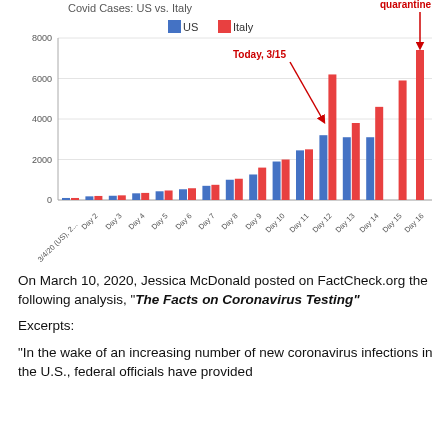[Figure (grouped-bar-chart): Covid Cases: US vs. Italy]
On March 10, 2020, Jessica McDonald posted on FactCheck.org the following analysis, "The Facts on Coronavirus Testing"
Excerpts:
"In the wake of an increasing number of new coronavirus infections in the U.S., federal officials have provided